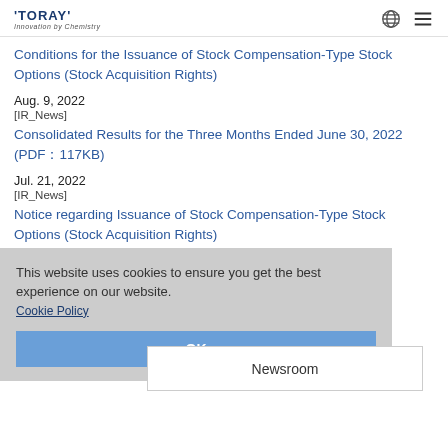TORAY Innovation by Chemistry
Conditions for the Issuance of Stock Compensation-Type Stock Options (Stock Acquisition Rights)
Aug. 9, 2022
[IR_News]
Consolidated Results for the Three Months Ended June 30, 2022 (PDF：117KB)
Jul. 21, 2022
[IR_News]
Notice regarding Issuance of Stock Compensation-Type Stock Options (Stock Acquisition Rights)
This website uses cookies to ensure you get the best experience on our website.
Cookie Policy
OK
Newsroom